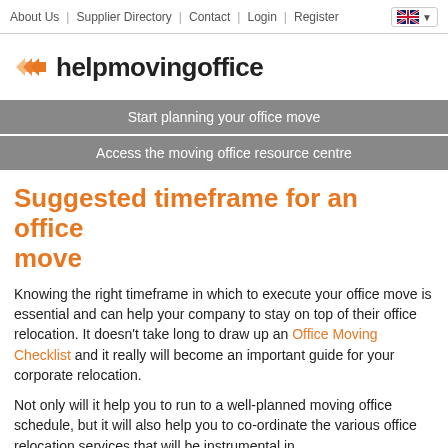About Us | Supplier Directory | Contact | Login | Register
[Figure (logo): helpmovingoffice logo with orange double-arrow chevron and bold text]
Start planning your office move
Access the moving office resource centre
Suggested timeframe for an office move
Knowing the right timeframe in which to execute your office move is essential and can help your company to stay on top of their office relocation. It doesn't take long to draw up an Office Moving Checklist and it really will become an important guide for your corporate relocation.
Not only will it help you to run to a well-planned moving office schedule, but it will also help you to co-ordinate the various office relocation services that will be instrumental in